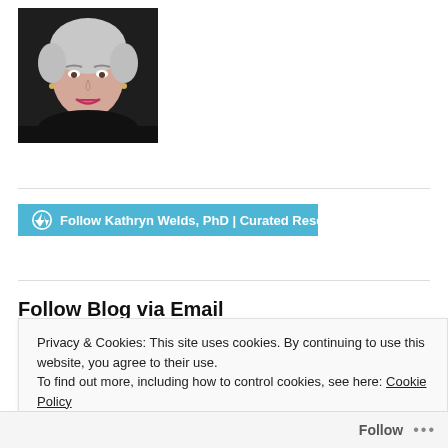[Figure (photo): Professional headshot of an older woman with short silver hair, wearing a black top, smiling, against a dark background]
[Figure (screenshot): WordPress follow button with text: Follow Kathryn Welds, PhD | Curated Research + Comm on a teal/blue background]
Follow Blog via Email
Privacy & Cookies: This site uses cookies. By continuing to use this website, you agree to their use.
To find out more, including how to control cookies, see here: Cookie Policy
Close and accept
Follow